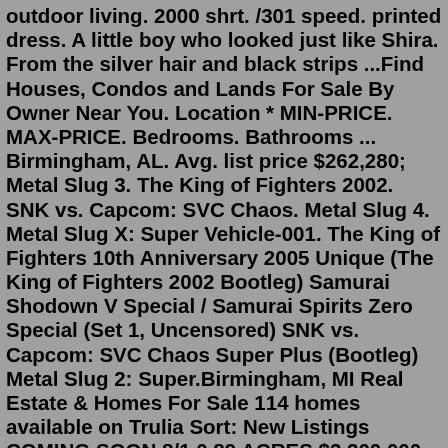outdoor living. 2000 shrt. /301 speed. printed dress. A little boy who looked just like Shira. From the silver hair and black strips ...Find Houses, Condos and Lands For Sale By Owner Near You. Location * MIN-PRICE. MAX-PRICE. Bedrooms. Bathrooms ... Birmingham, AL. Avg. list price $262,280; Metal Slug 3. The King of Fighters 2002. SNK vs. Capcom: SVC Chaos. Metal Slug 4. Metal Slug X: Super Vehicle-001. The King of Fighters 10th Anniversary 2005 Unique (The King of Fighters 2002 Bootleg) Samurai Shodown V Special / Samurai Spirits Zero Special (Set 1, Uncensored) SNK vs. Capcom: SVC Chaos Super Plus (Bootleg) Metal Slug 2: Super.Birmingham, MI Real Estate & Homes For Sale 114 homes available on Trulia Sort: New Listings COMING SOON 8/1 0.89 ACRES $3,200,000 5bd 8ba 6,007 sqft (on 0.89 acres) 421 Arlington Rd, Birmingham, MI 48009 Max Broock, REALTORS®-Birmingham NEW COMING SOON 0.29 ACRES $1,249,000 4bd 5ba 3,496 sqft (on 0.29 acres) 1065 Westwood Dr, Birmingham, MI 48009Off Market